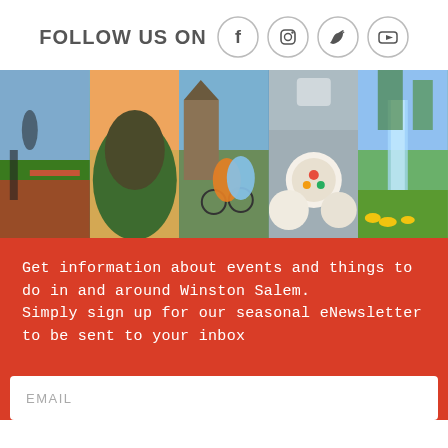FOLLOW US ON
[Figure (illustration): Social media icons for Facebook, Instagram, Twitter, YouTube in circle outlines]
[Figure (photo): Five-panel photo strip showing: person on colorful artwork, rocky hill with trees at sunset, two cyclists near stone building, food bowls overhead view, waterfall with yellow flowers]
Get information about events and things to do in and around Winston Salem.
Simply sign up for our seasonal eNewsletter to be sent to your inbox
EMAIL